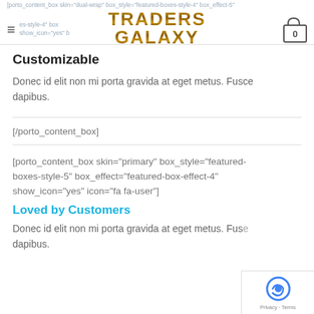[porto_content_box skin="featured-wrap" box_style="featured-boxes-style-4" box_effect-5" show_icon="yes" b... | TRADERS GALAXY | 0
[porto_content_ box skin="dual-wrap" box_style="featured-boxes-style-4" box_effect-5" show_icon="yes" b...
Customizable
Donec id elit non mi porta gravida at eget metus. Fusce dapibus.
[/porto_content_box]
[porto_content_box skin="primary" box_style="featured-boxes-style-5" box_effect="featured-box-effect-4" show_icon="yes" icon="fa fa-user"]
Loved by Customers
Donec id elit non mi porta gravida at eget metus. Fusce dapibus.